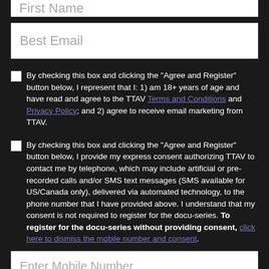First Name
Best Email
By checking this box and clicking the "Agree and Register" button below, I represent that I: 1) am 18+ years of age and have read and agree to the TTAV Terms and Conditions and Privacy Policy; and 2) agree to receive email marketing from TTAV.
By checking this box and clicking the "Agree and Register" button below, I provide my express consent authorizing TTAV to contact me by telephone, which may include artificial or pre-recorded calls and/or SMS text messages (SMS available for US/Canada only), delivered via automated technology, to the phone number that I have provided above. I understand that my consent is not required to register for the docu-series. To register for the docu-series without providing consent, click here to dismiss the mobile number and consent.
Enter Mobile Number
Only numbers and dashes, i.e. 1-555-123-1234